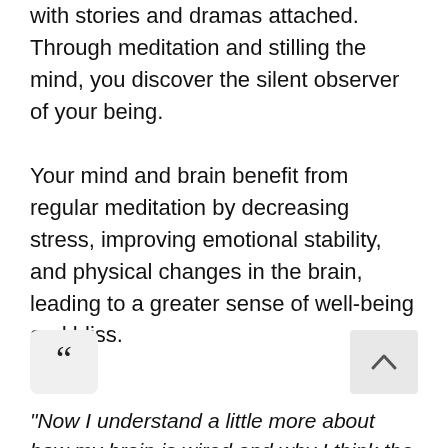with stories and dramas attached. Through meditation and stilling the mind, you discover the silent observer of your being.
Your mind and brain benefit from regular meditation by decreasing stress, improving emotional stability, and physical changes in the brain, leading to a greater sense of well-being and bliss.
[Figure (other): Large opening quotation mark icon in a light grey rounded rectangle box]
[Figure (other): Upward arrow chevron icon in a light grey rectangle box]
"Now I understand a little more about how my brain is wired and why I think the way I do – I get it!! A